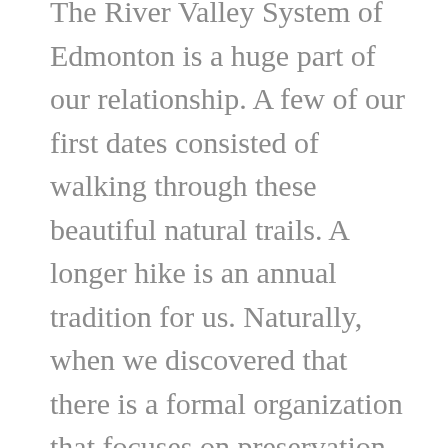The River Valley System of Edmonton is a huge part of our relationship. A few of our first dates consisted of walking through these beautiful natural trails. A longer hike is an annual tradition for us. Naturally, when we discovered that there is a formal organization that focuses on preservation of the River Valley, I considered participating. Oh, if only I have more hours in the day! Or maybe, there will be an opportunity or schedule when this will work better in the future. For now, when we are wanting a more casual date, we'll continue to use this network of trails and doing our best to be responsible users of